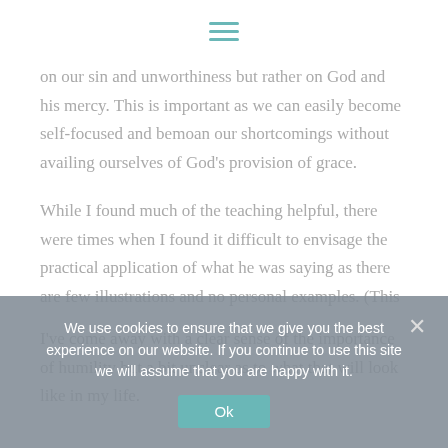≡
on our sin and unworthiness but rather on God and his mercy. This is important as we can easily become self-focused and bemoan our shortcomings without availing ourselves of God's provision of grace.
While I found much of the teaching helpful, there were times when I found it difficult to envisage the practical application of what he was saying as there are few illustrations and no personal examples. (This
I've come away with a clear sense of the importance of humility but a bit unclear as to what that will look like in my life.
We use cookies to ensure that we give you the best experience on our website. If you continue to use this site we will assume that you are happy with it.